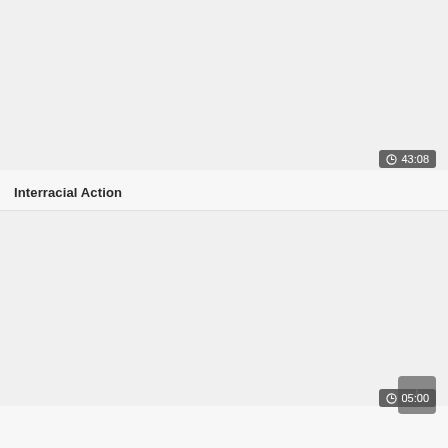[Figure (screenshot): Video thumbnail placeholder area, light gray background]
43:08
Interracial Action
[Figure (screenshot): Second video thumbnail placeholder area, light gray background, with plus button and partial duration badge at bottom]